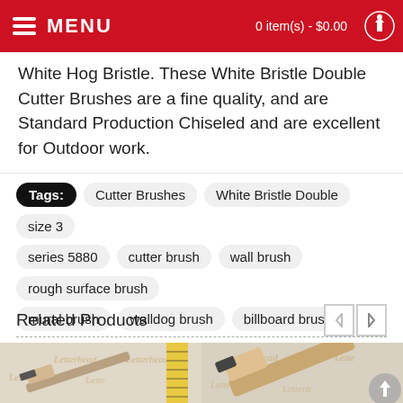MENU | 0 item(s) - $0.00
White Hog Bristle. These White Bristle Double Cutter Brushes are a fine quality, and are Standard Production Chiseled and are excellent for Outdoor work.
Tags: Cutter Brushes | White Bristle Double | size 3 | series 5880 | cutter brush | wall brush | rough surface brush | mural brush | walldog brush | billboard brush
Related Products
[Figure (photo): Product photo of a small paint brush on Letterhead Sign Supply branded paper background, with a yellow measuring tape to the right]
[Figure (photo): Product photo of a larger paint brush on Letterhead Sign Supply branded paper background, partially cropped]